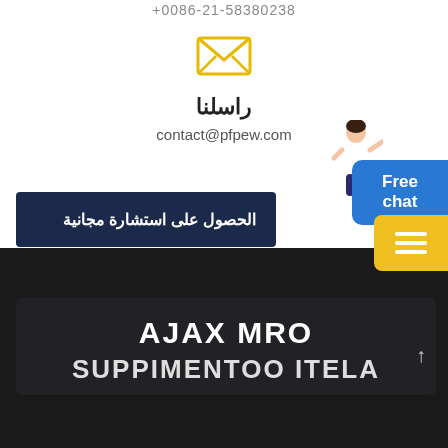+0086-21-58380238
[Figure (illustration): Yellow envelope/email icon outline]
راسلنا
contact@pfpew.com
الحصول على استشارة مجانية
[Figure (illustration): Woman with headset customer service representative illustration]
Free chat
[Figure (illustration): Yellow hamburger menu icon]
AJAX MRO
SUPPIMENTOO ITELA